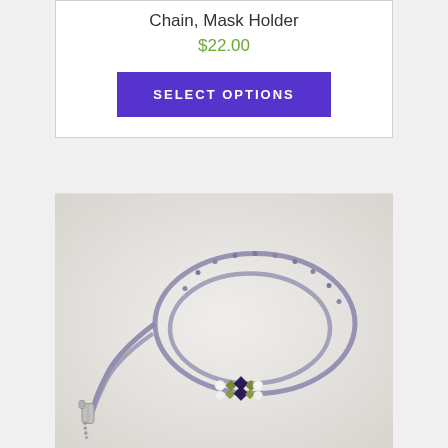Chain, Mask Holder
$22.00
SELECT OPTIONS
[Figure (photo): A beaded eyeglass/mask chain in lavender/grey seed beads with a lobster clasp on one end and decorative dark purple and olive green crystal beads near the center-bottom. The chain is looped in a loose coil on a light grey background.]